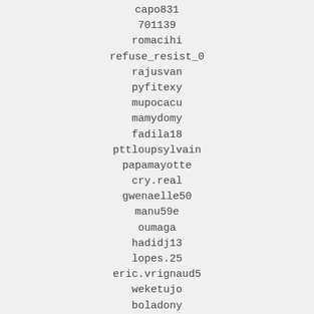capo831
701139
romacihi
refuse_resist_0
rajusvan
pyfitexy
mupocacu
mamydomy
fadila18
pttloupsylvain
papamayotte
cry.real
gwenaelle50
manu59e
oumaga
hadidj13
lopes.25
eric.vrignaud5
weketujo
boladony
yasser-91
xaqypewe
fagodiry
&&&&
&47&&